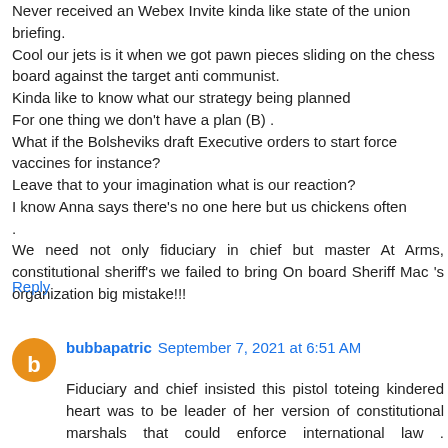Never received an Webex Invite kinda like state of the union briefing.
Cool our jets is it when we got pawn pieces sliding on the chess board against the target anti communist.
Kinda like to know what our strategy being planned
For one thing we don't have a plan (B) .
What if the Bolsheviks draft Executive orders to start force vaccines for instance?
Leave that to your imagination what is our reaction?
I know Anna says there's no one here but us chickens often
.
We need not only fiduciary in chief but master At Arms, constitutional sheriff's we failed to bring On board Sheriff Mac 's organization big mistake!!!
Reply
bubbapatric  September 7, 2021 at 6:51 AM
Fiduciary and chief insisted this pistol toteing kindered heart was to be leader of her version of constitutional marshals that could enforce international law . Completely bypassing the ones established. That fired Marsha for